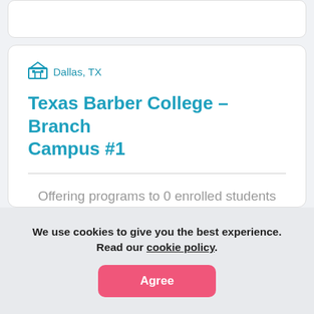Dallas, TX
Texas Barber College - Branch Campus #1
Offering programs to 0 enrolled students and the its average tuition & fees is $14,500
We use cookies to give you the best experience. Read our cookie policy.